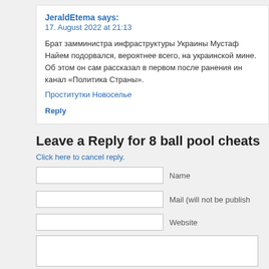JeraldEtema says:
17. August 2022 at 21:13
Брат замминистра инфраструктуры Украины Мустафа Найем подорвался, вероятнее всего, на украинской мине. Об этом он сам рассказал в первом после ранения интервью каналу «Политика Страны».
Проститутки Новоселье
Reply
Leave a Reply for 8 ball pool cheats
Click here to cancel reply.